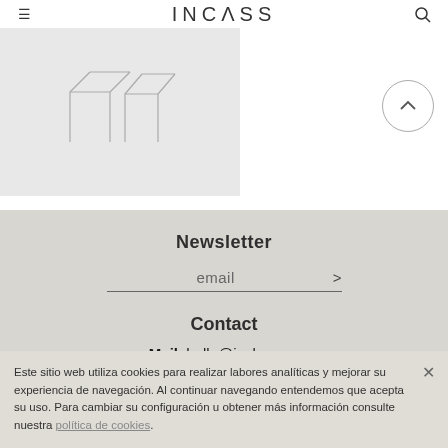INCLASS
[Figure (illustration): Product image showing geometric chair/furniture outline sketches on grey background]
Newsletter
email
Contact
Mail. hello@inclass.es
Ph. +34 96 540 52 30
Este sitio web utiliza cookies para realizar labores analíticas y mejorar su experiencia de navegación. Al continuar navegando entendemos que acepta su uso. Para cambiar su configuración u obtener más información consulte nuestra política de cookies.